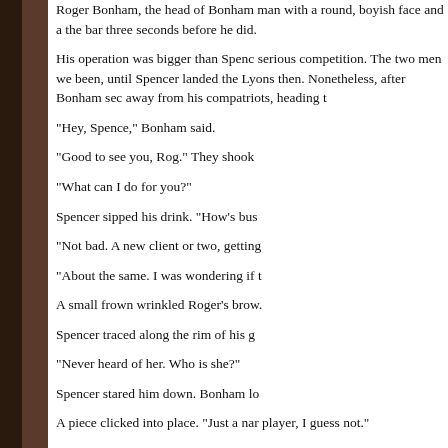Roger Bonham, the head of Bonham man with a round, boyish face and a the bar three seconds before he did.
His operation was bigger than Spenc serious competition. The two men we been, until Spencer landed the Lyons then. Nonetheless, after Bonham sec away from his compatriots, heading t
"Hey, Spence," Bonham said.
"Good to see you, Rog." They shook
"What can I do for you?"
Spencer sipped his drink. "How's bus
"Not bad. A new client or two, getting
"About the same. I was wondering if t
A small frown wrinkled Roger's brow.
Spencer traced along the rim of his g
"Never heard of her. Who is she?"
Spencer stared him down. Bonham lo
A piece clicked into place. "Just a nar player, I guess not."